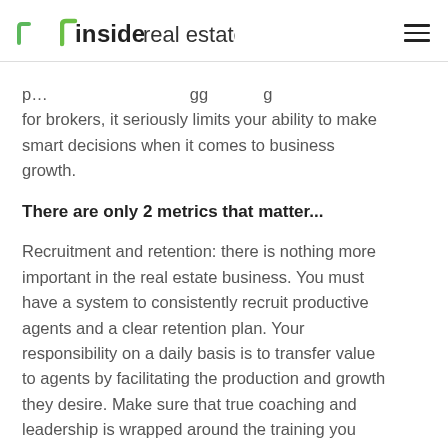inside real estate
p... ...gg ...g for brokers, it seriously limits your ability to make smart decisions when it comes to business growth.
There are only 2 metrics that matter...
Recruitment and retention: there is nothing more important in the real estate business. You must have a system to consistently recruit productive agents and a clear retention plan. Your responsibility on a daily basis is to transfer value to agents by facilitating the production and growth they desire. Make sure that true coaching and leadership is wrapped around the training you